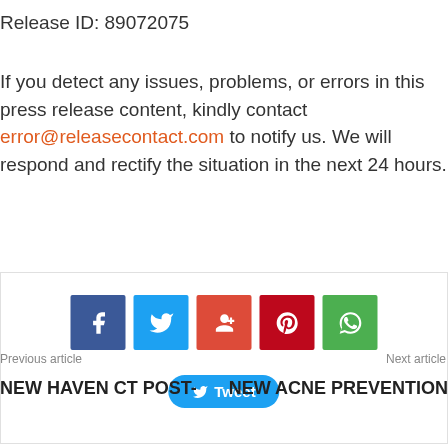Release ID: 89072075
If you detect any issues, problems, or errors in this press release content, kindly contact error@releasecontact.com to notify us. We will respond and rectify the situation in the next 24 hours.
[Figure (infographic): Social sharing buttons: Facebook (blue), Twitter (light blue), Google+ (orange-red), Pinterest (dark red), WhatsApp (green), and a Tweet button below]
Previous article
Next article
NEW HAVEN CT POST-
NEW ACNE PREVENTION